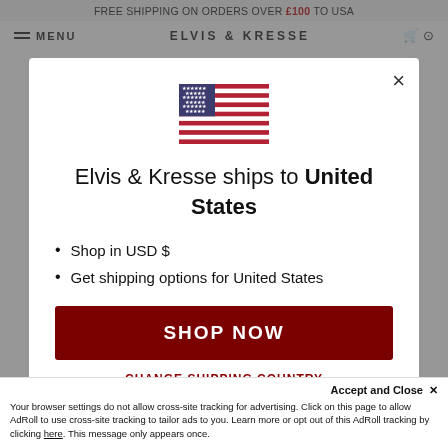FREE SHIPPING ON ORDERS OVER £100 TO USA
MENU   ELVIS & KRESSE
Elvis & Kresse ships to United States
Shop in USD $
Get shipping options for United States
SHOP NOW
CHANGE SHIPPING COUNTRY
Accept and Close ×
Your browser settings do not allow cross-site tracking for advertising. Click on this page to allow AdRoll to use cross-site tracking to tailor ads to you. Learn more or opt out of this AdRoll tracking by clicking here. This message only appears once.